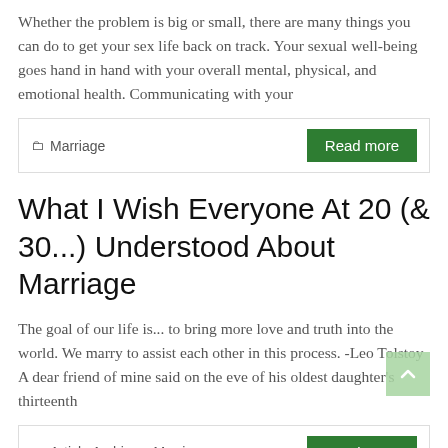Whether the problem is big or small, there are many things you can do to get your sex life back on track. Your sexual well-being goes hand in hand with your overall mental, physical, and emotional health. Communicating with your
🗀 Marriage
Read more
What I Wish Everyone At 20 (& 30...) Understood About Marriage
The goal of our life is... to bring more love and truth into the world. We marry to assist each other in this process. -Leo Tolstoy A dear friend of mine said on the eve of his oldest daughter's thirteenth
🗀 Article Archives, Marriage
Read more